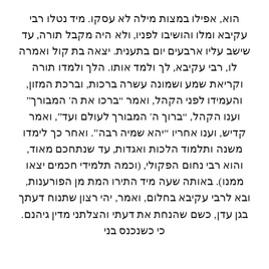הוא, אפילו במצות מילה לא עסקו. מיד נטלו רבי עקיבא ומלו והושיבו לפניו, ולא היה מקבל תורה, עד שישב עליו ארבעים יום בתענית. יצאה בת קול ואמרה לו, רבי עקיבא, לך ולמד אותו. הלך ולמדו תורה וקריאת שמע ושמונה עשרה ברכות, וברכת המזון, והעמידו לפני הקהל, ואמר "ברכו את ה' המבורך" וענו הקהל, "ברוך ה' המבורך לעולם ועד", ואמר קדיש, וענו אחריו "יהא שמיה רבה". ואחר כך לימדו משנה ותלמוד הלכות ואגדות, עד שנתחכם מאוד, והוא רבי נחום הפקולי, (וכמה תלמידי חכמים יצאו ממנו). באותה שעה מיד התירו המת מן הפורענות, ובא לרבי עקיבא בחלום, ואמר, יהי רצון שתנוח דעתך בגן עדן, כשם שהנחת את דעתי והצלתני מדין גיהנם. כי כשנכנס בני